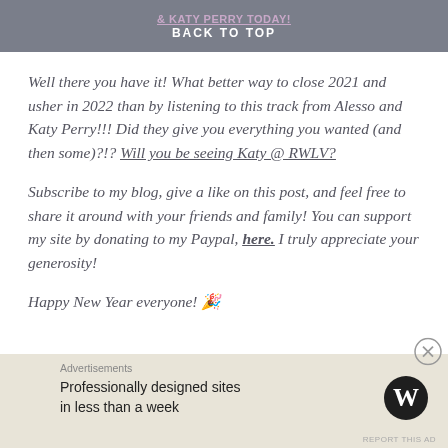& KATY PERRY TODAY! BACK TO TOP
Well there you have it! What better way to close 2021 and usher in 2022 than by listening to this track from Alesso and Katy Perry!!! Did they give you everything you wanted (and then some)?!? Will you be seeing Katy @ RWLV?
Subscribe to my blog, give a like on this post, and feel free to share it around with your friends and family! You can support my site by donating to my Paypal, here. I truly appreciate your generosity!
Happy New Year everyone! 🎉
Advertisements
Professionally designed sites in less than a week